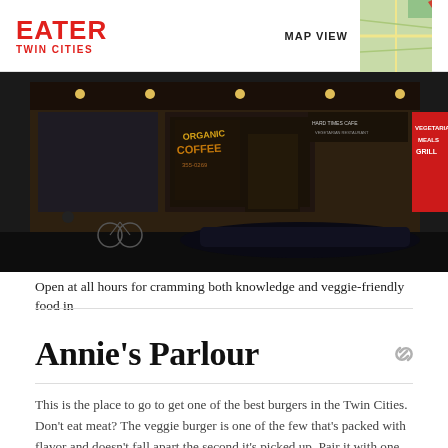EATER TWIN CITIES | MAP VIEW
[Figure (photo): Street-level photo of a restaurant storefront with dark brick exterior, signs reading 'Organic Coffee' and 'Hard Times Cafe', bicycles parked in front]
Open at all hours for cramming both knowledge and veggie-friendly food in
Annie's Parlour
This is the place to go to get one of the best burgers in the Twin Cities. Don't eat meat? The veggie burger is one of the few that's packed with flavor and doesn't fall apart the second it's picked up. Pair it with one of their many classic malts or milkshakes and order a basket of fries to share.